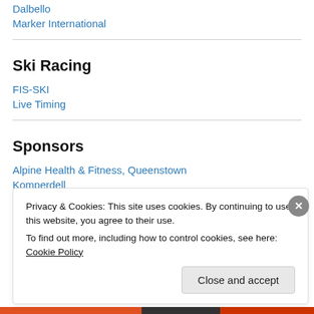Dalbello
Marker International
Ski Racing
FIS-SKI
Live Timing
Sponsors
Alpine Health & Fitness, Queenstown
Komperdell
Privacy & Cookies: This site uses cookies. By continuing to use this website, you agree to their use.
To find out more, including how to control cookies, see here: Cookie Policy
Close and accept